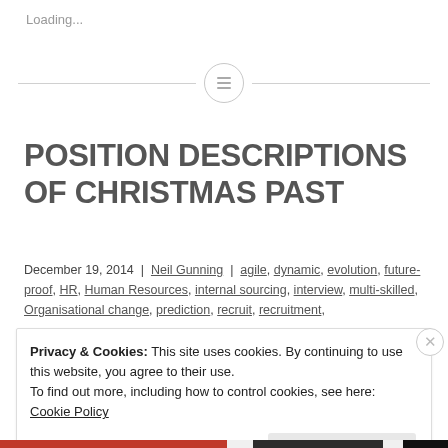Loading...
[Figure (other): Horizontal divider line with a circle icon containing three horizontal lines (menu/hamburger icon) in the center]
POSITION DESCRIPTIONS OF CHRISTMAS PAST
December 19, 2014  |  Neil Gunning  |  agile, dynamic, evolution, future-proof, HR, Human Resources, internal sourcing, interview, multi-skilled, Organisational change, prediction, recruit, recruitment,
Privacy & Cookies: This site uses cookies. By continuing to use this website, you agree to their use.
To find out more, including how to control cookies, see here: Cookie Policy
[Close and accept]